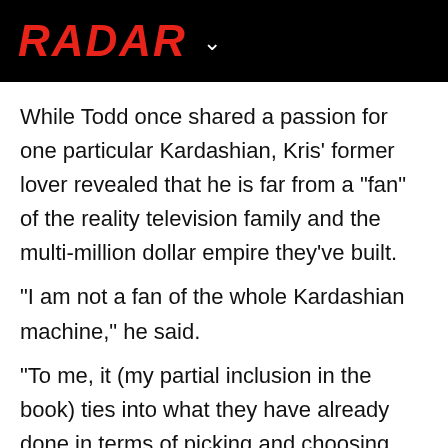RADAR
While Todd once shared a passion for one particular Kardashian, Kris' former lover revealed that he is far from a "fan" of the reality television family and the multi-million dollar empire they've built.
"I am not a fan of the whole Kardashian machine," he said.
"To me, it (my partial inclusion in the book) ties into what they have already done in terms of picking and choosing what they release and how they are portrayed."
While not happy about his inclusion in Kris' tell-all, Todd told Star it was to be expected from a family who has used